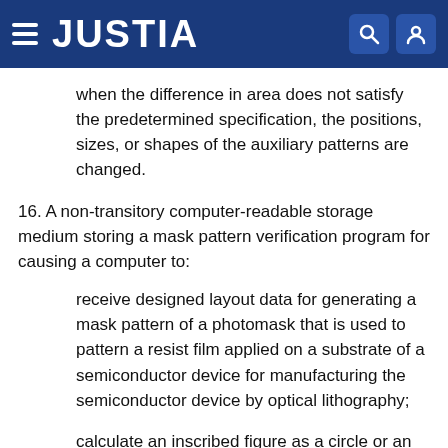JUSTIA
when the difference in area does not satisfy the predetermined specification, the positions, sizes, or shapes of the auxiliary patterns are changed.
16. A non-transitory computer-readable storage medium storing a mask pattern verification program for causing a computer to:
receive designed layout data for generating a mask pattern of a photomask that is used to pattern a resist film applied on a substrate of a semiconductor device for manufacturing the semiconductor device by optical lithography;
calculate an inscribed figure as a circle or an oval inscribed in a rectangular pattern of the received designed layout data;